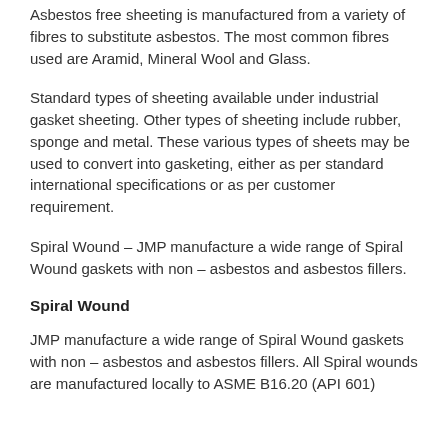Asbestos free sheeting is manufactured from a variety of fibres to substitute asbestos. The most common fibres used are Aramid, Mineral Wool and Glass.
Standard types of sheeting available under industrial gasket sheeting. Other types of sheeting include rubber, sponge and metal. These various types of sheets may be used to convert into gasketing, either as per standard international specifications or as per customer requirement.
Spiral Wound – JMP manufacture a wide range of Spiral Wound gaskets with non – asbestos and asbestos fillers.
Spiral Wound
JMP manufacture a wide range of Spiral Wound gaskets with non – asbestos and asbestos fillers. All Spiral wounds are manufactured locally to ASME B16.20 (API 601)